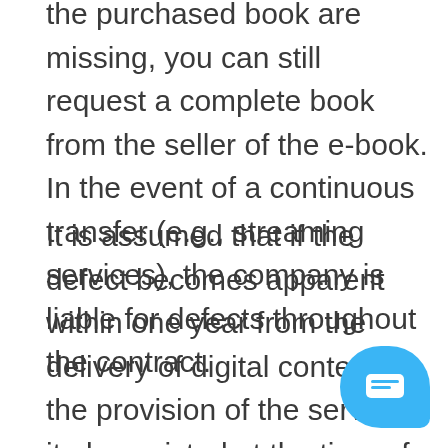the purchased book are missing, you can still request a complete book from the seller of the e-book. In the event of a continuous transfer (e.g., streaming services), the company is liable for defects throughout the contract.
It is assumed that if the defect becomes apparent within one year from the delivery of digital content or the provision of the service, it also existed at the time of delivery (previously, such a presumption was valid for 6 months). In the case of a continuous transfer of digital content or service, this is presumed throughout the contract.
It is worth remembering that the entrepreneur also provide the consumer with all the system